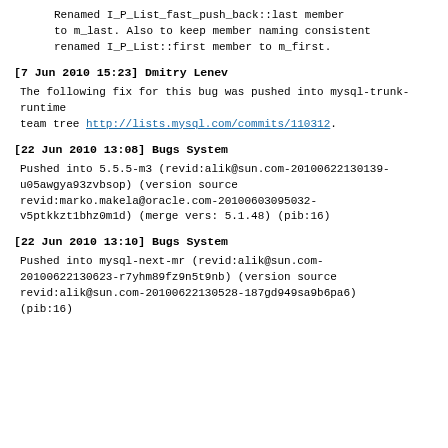Renamed I_P_List_fast_push_back::last member to m_last. Also to keep member naming consistent renamed I_P_List::first member to m_first.
[7 Jun 2010 15:23] Dmitry Lenev
The following fix for this bug was pushed into mysql-trunk-runtime
team tree http://lists.mysql.com/commits/110312.
[22 Jun 2010 13:08] Bugs System
Pushed into 5.5.5-m3 (revid:alik@sun.com-20100622130139-u05awgya93zvbsop) (version source revid:marko.makela@oracle.com-20100603095032-v5ptkkzt1bhz0m1d) (merge vers: 5.1.48) (pib:16)
[22 Jun 2010 13:10] Bugs System
Pushed into mysql-next-mr (revid:alik@sun.com-20100622130623-r7yhm89fz9n5t9nb) (version source revid:alik@sun.com-20100622130528-187gd949sa9b6pa6)
(pib:16)